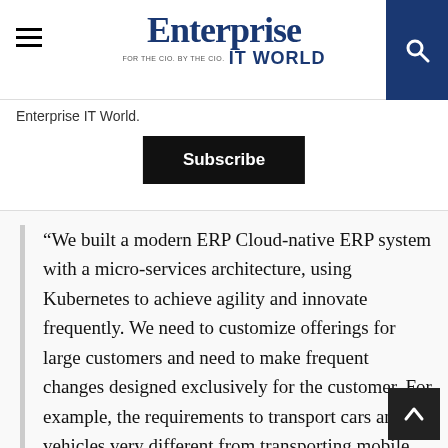Enterprise IT World
Enterprise IT World.
Subscribe
“We built a modern ERP Cloud-native ERP system with a micro-services architecture, using Kubernetes to achieve agility and innovate frequently. We need to customize offerings for large customers and need to make frequent changes designed exclusively for the customer. For example, the requirements to transport cars and vehicles very different from transporting mobile phones.”